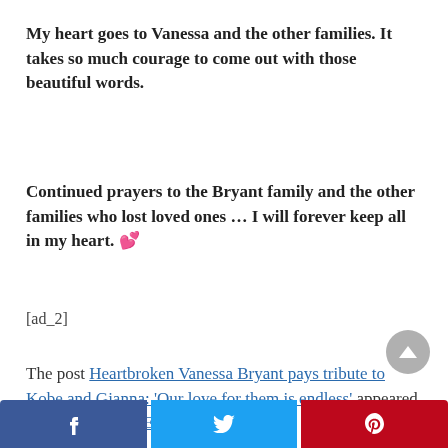My heart goes to Vanessa and the other families. It takes so much courage to come out with those beautiful words.
Continued prayers to the Bryant family and the other families who lost loved ones … I will forever keep all in my heart. 💕
The post Heartbroken Vanessa Bryant pays tribute to Kobe and Gianna: 'Our love for them is endless' appeared first on Newsner English.
[ad_2]